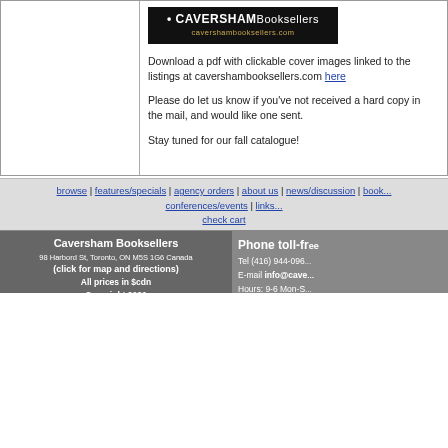[Figure (logo): Caversham Booksellers logo on black background with website cavershambooksellers.com]
Download a pdf with clickable cover images linked to the listings at cavershambooksellers.com here

Please do let us know if you've not received a hard copy in the mail, and would like one sent.

Stay tuned for our fall catalogue!
browse | features/specials | agency orders | about us | news/discussion | book... conferences/events | links... check cart
Caversham Booksellers
98 Harbord St, Toronto, ON M5S 1G6 Canada
(click for map and directions)
All prices in $cdn
Copyright 2020
Phone toll-fr...
Tel (416) 944-096...
E-mail info@cave...
Hours: 9-6 Mon-S...